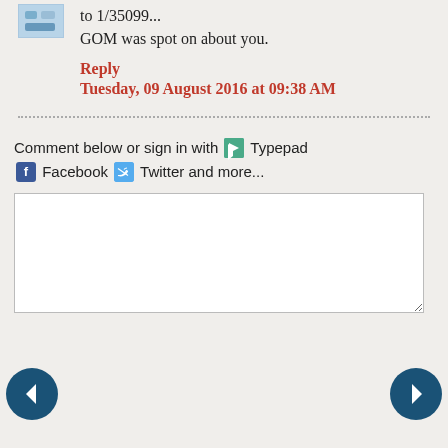to 1/35099... GOM was spot on about you.
Reply
Tuesday, 09 August 2016 at 09:38 AM
Comment below or sign in with Typepad Facebook Twitter and more...
[Figure (other): Comment text input box (empty)]